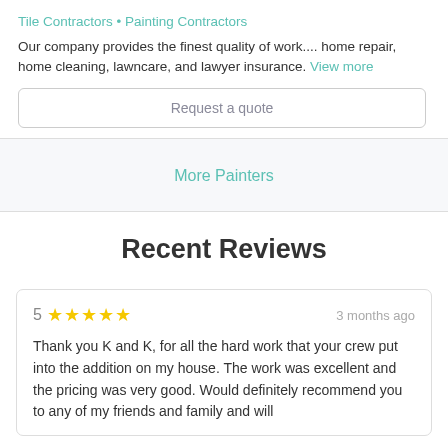Tile Contractors • Painting Contractors
Our company provides the finest quality of work.... home repair, home cleaning, lawncare, and lawyer insurance. View more
Request a quote
More Painters
Recent Reviews
5 ★★★★★  3 months ago
Thank you K and K, for all the hard work that your crew put into the addition on my house. The work was excellent and the pricing was very good. Would definitely recommend you to any of my friends and family and will